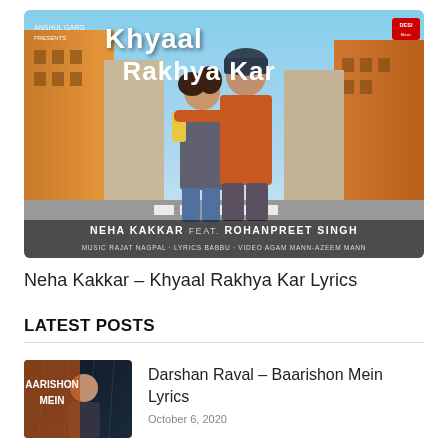[Figure (photo): Movie/song promotional poster for 'Khyaal Rakhya Kar' featuring Neha Kakkar and Rohanpreet Singh. Two people embracing on a street. Text reads: ANSHUL GARG PRESENTS, Khyaal Rakhya Kar, NEHA KAKKAR feat. ROHANPREET SINGH, Music: RAJAT NAGPAL, Lyrics: BABBU, Video: AGAM MANN-AZEEM MANN. Desi Music Factory logo in top right.]
Neha Kakkar – Khyaal Rakhya Kar Lyrics
LATEST POSTS
[Figure (photo): Thumbnail for Darshan Raval Baarishon Mein Lyrics showing a man's face with text AARISHON MEIN on a dark background.]
Darshan Raval – Baarishon Mein Lyrics